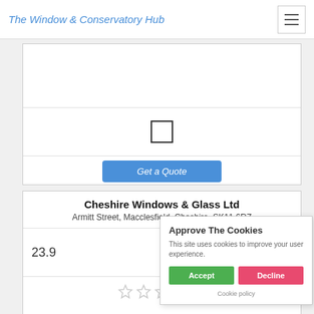The Window & Conservatory Hub
[Figure (screenshot): Card with checkbox icon and Get a Quote button]
Cheshire Windows & Glass Ltd
Armitt Street, Macclesfield, Cheshire, SK11 6RZ
23.9
[Figure (illustration): Five empty star rating icons]
Approve The Cookies
This site uses cookies to improve your user experience.
Accept
Decline
Cookie policy